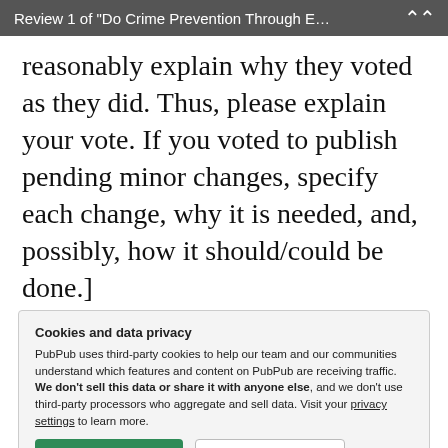Review 1 of "Do Crime Prevention Through E…
reasonably explain why they voted as they did. Thus, please explain your vote. If you voted to publish pending minor changes, specify each change, why it is needed, and, possibly, how it should/could be done.]
This does a fine job of describing CPTED and illustrating how it can have some
Cookies and data privacy
PubPub uses third-party cookies to help our team and our communities understand which features and content on PubPub are receiving traffic. We don't sell this data or share it with anyone else, and we don't use third-party processors who aggregate and sell data. Visit your privacy settings to learn more.
writing is problematic. As such, its